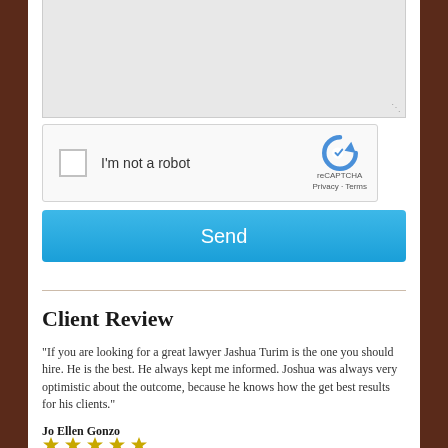[Figure (screenshot): Text area input box (grayed out, resizable)]
[Figure (screenshot): reCAPTCHA widget with checkbox labeled 'I'm not a robot', reCAPTCHA logo, Privacy and Terms links]
Send
Client Review
"If you are looking for a great lawyer Jashua Turim is the one you should hire. He is the best. He always kept me informed. Joshua was always very optimistic about the outcome, because he knows how the get best results for his clients."
Jo Ellen Gonzo
[Figure (other): Five gold star rating icons]